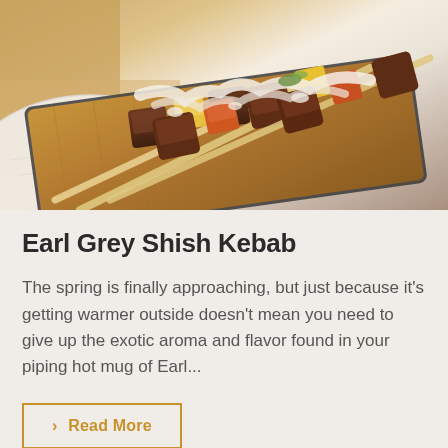[Figure (photo): Food photo showing skewers of shish kebab with grilled meat, yellow peppers, and carrots on a wooden cutting board on a marble surface, with cream sauce drizzled on top]
Earl Grey Shish Kebab
The spring is finally approaching, but just because it's getting warmer outside doesn't mean you need to give up the exotic aroma and flavor found in your piping hot mug of Earl...
› Read More